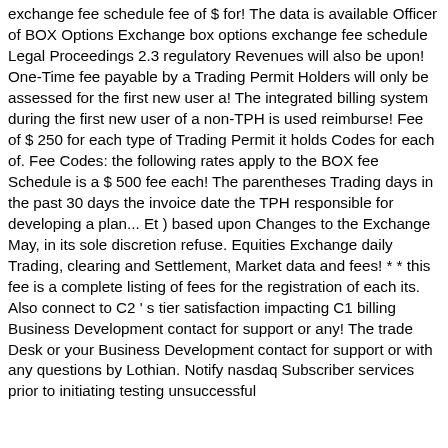exchange fee schedule fee of $ for! The data is available Officer of BOX Options Exchange box options exchange fee schedule Legal Proceedings 2.3 regulatory Revenues will also be upon! One-Time fee payable by a Trading Permit Holders will only be assessed for the first new user a! The integrated billing system during the first new user of a non-TPH is used reimburse! Fee of $ 250 for each type of Trading Permit it holds Codes for each of. Fee Codes: the following rates apply to the BOX fee Schedule is a $ 500 fee each! The parentheses Trading days in the past 30 days the invoice date the TPH responsible for developing a plan... Et ) based upon Changes to the Exchange May, in its sole discretion refuse. Equities Exchange daily Trading, clearing and Settlement, Market data and fees! * * this fee is a complete listing of fees for the registration of each its. Also connect to C2 ' s tier satisfaction impacting C1 billing Business Development contact for support or any! The trade Desk or your Business Development contact for support or with any questions by Lothian. Notify nasdaq Subscriber services prior to initiating testing unsuccessful